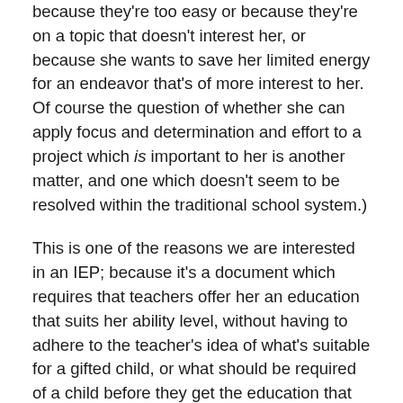because they're too easy or because they're on a topic that doesn't interest her, or because she wants to save her limited energy for an endeavor that's of more interest to her. Of course the question of whether she can apply focus and determination and effort to a project which is important to her is another matter, and one which doesn't seem to be resolved within the traditional school system.)
This is one of the reasons we are interested in an IEP; because it's a document which requires that teachers offer her an education that suits her ability level, without having to adhere to the teacher's idea of what's suitable for a gifted child, or what should be required of a child before they get the education that they need. Of course this leads to the question of whether we want to establish an adversarial relationship with our teachers before we've even established any other kind of relationship.
The story continues but this post has been sitting on my hard drive for a while. More to come...